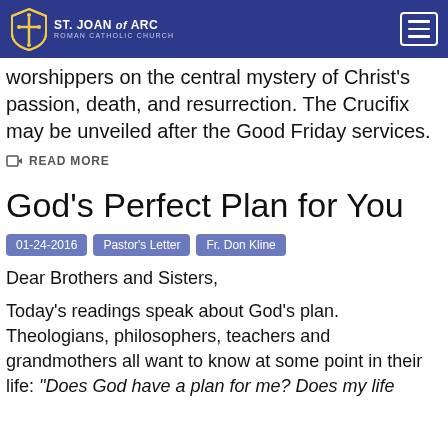St. Joan of Arc Roman Catholic Church
worshippers on the central mystery of Christ's passion, death, and resurrection. The Crucifix may be unveiled after the Good Friday services.
READ MORE
God’s Perfect Plan for You
01-24-2016  Pastor’s Letter  Fr. Don Kline
Dear Brothers and Sisters,
Today’s readings speak about God’s plan. Theologians, philosophers, teachers and grandmothers all want to know at some point in their life: “Does God have a plan for me? Does my life